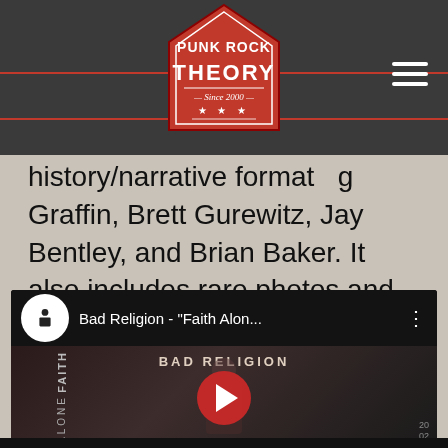[Figure (logo): Punk Rock Theory logo badge - red pentagon/house shape with 'PUNK ROCK THEORY' text and 'Since 2000' subtitle, three stars below]
history/narrative format... Greg Graffin, Brett Gurewitz, Jay Bentley, and Brian Baker. It also includes rare photos and never-before-seen material from their archives.
[Figure (screenshot): YouTube video embed showing Bad Religion - 'Faith Alon...' video from Epitaph Records channel, with red play button in center. Thumbnail shows Bad Religion album art with figure and band name text.]